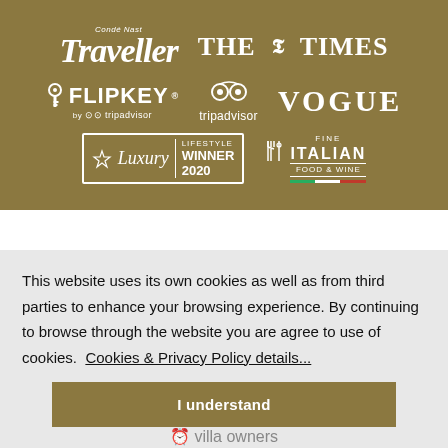[Figure (logo): Gold banner with media and partner logos: Condé Nast Traveller, The Times, Flipkey by TripAdvisor, TripAdvisor, Vogue, Luxury Lifestyle Winner 2020, Fine Italian Food & Wine]
This website uses its own cookies as well as from third parties to enhance your browsing experience. By continuing to browse through the website you are agree to use of cookies.  Cookies & Privacy Policy details...
I understand
& villa owners